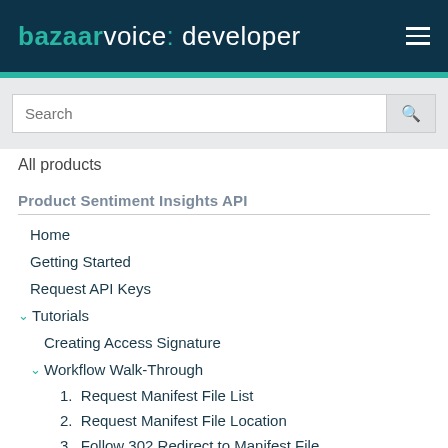bazaarvoice: developer
[Figure (screenshot): Search input field with magnifying glass icon]
All products
Product Sentiment Insights API
Home
Getting Started
Request API Keys
Tutorials
Creating Access Signature
Workflow Walk-Through
1.  Request Manifest File List
2.  Request Manifest File Location
3.  Follow 302 Redirect to Manifest File
4.  Request Data File Location